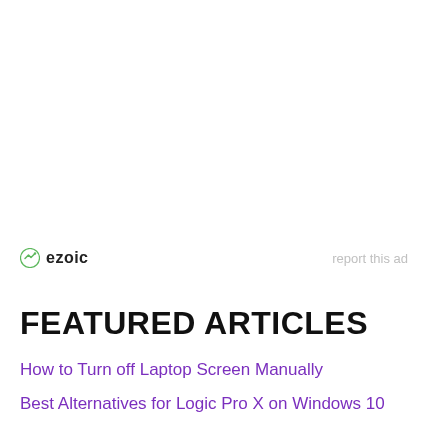[Figure (logo): Ezoic logo with green circular icon and bold 'ezoic' text, with 'report this ad' link to the right]
FEATURED ARTICLES
How to Turn off Laptop Screen Manually
Best Alternatives for Logic Pro X on Windows 10